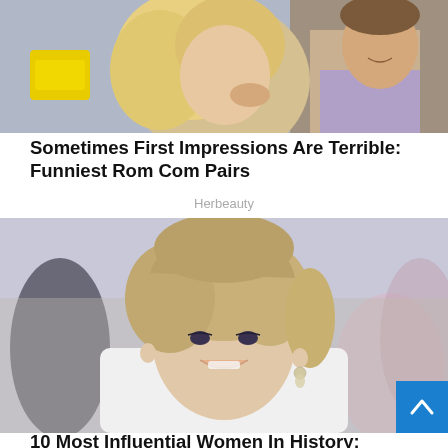[Figure (photo): A man and woman in a romantic moment outdoors, the man holding the woman's face, both smiling. A yellow car is visible in the background.]
Sometimes First Impressions Are Terrible: Funniest Rom Com Pairs
Herbeauty
[Figure (photo): A woman with short blonde layered hair and drop earrings, smiling, wearing a white jacket. Blurred background with people.]
10 Most Influential Women In History: